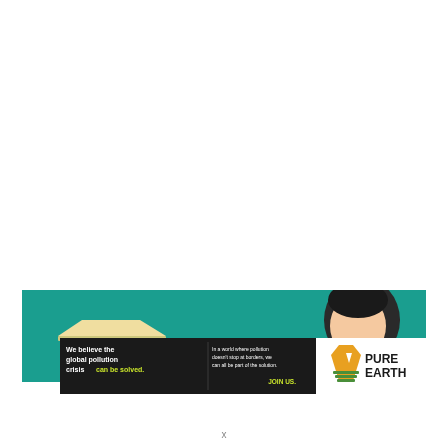[Figure (illustration): Teal/green banner background with illustrated stack of papers/books on the left and a person's head (dark hair, light skin) on the right side of the banner.]
[Figure (infographic): Pure Earth advertisement bar. Left black section: 'We believe the global pollution crisis can be solved.' (with 'can be solved.' in green). Center black section: 'In a world where pollution doesn't stop at borders, we can all be part of the solution.' and 'JOIN US.' in green/yellow. Right white section: Pure Earth logo with diamond/arrow icon and bold text 'PURE EARTH'.]